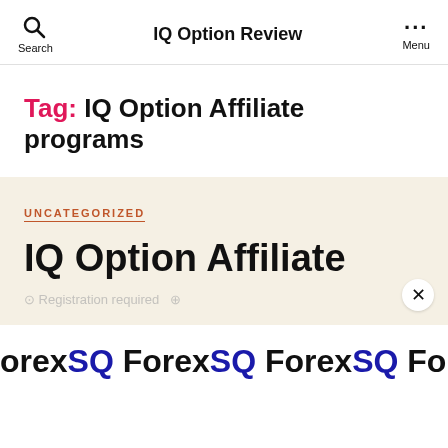IQ Option Review
Tag: IQ Option Affiliate programs
UNCATEGORIZED
IQ Option Affiliate
ForexSQ ForexSQ ForexSQ ForexSQ